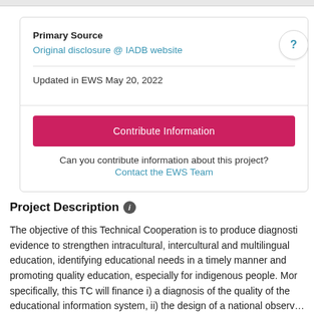Primary Source
Original disclosure @ IADB website
Updated in EWS May 20, 2022
Contribute Information
Can you contribute information about this project?
Contact the EWS Team
Project Description
The objective of this Technical Cooperation is to produce diagnostics evidence to strengthen intracultural, intercultural and multilingual education, identifying educational needs in a timely manner and promoting quality education, especially for indigenous people. More specifically, this TC will finance i) a diagnosis of the quality of the educational information system, ii) the design of a national observ…